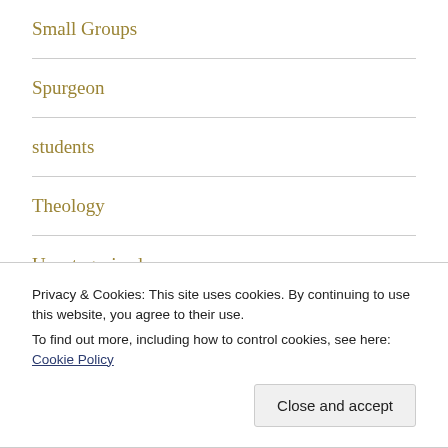Small Groups
Spurgeon
students
Theology
Uncategorized
vacation
Privacy & Cookies: This site uses cookies. By continuing to use this website, you agree to their use.
To find out more, including how to control cookies, see here: Cookie Policy
Close and accept